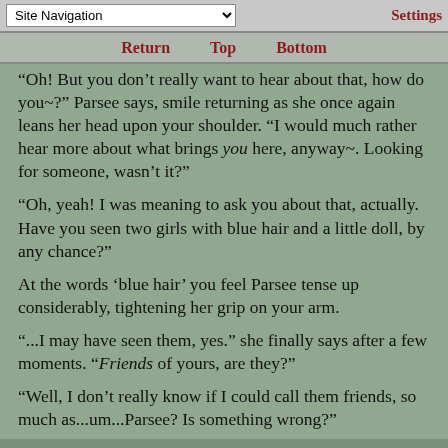Site Navigation | Settings
Return  Top  Bottom
“Oh! But you don’t really want to hear about that, how do you~?” Parsee says, smile returning as she once again leans her head upon your shoulder. “I would much rather hear more about what brings you here, anyway~. Looking for someone, wasn’t it?”
“Oh, yeah! I was meaning to ask you about that, actually. Have you seen two girls with blue hair and a little doll, by any chance?”
At the words ‘blue hair’ you feel Parsee tense up considerably, tightening her grip on your arm.
“...I may have seen them, yes.” she finally says after a few moments. “Friends of yours, are they?”
“Well, I don’t really know if I could call them friends, so much as...um...Parsee? Is something wrong?”
“Oh, no~. Everything is fine~” she says, snuggling up